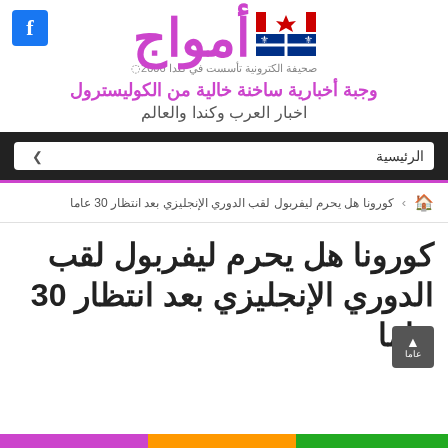[Figure (logo): Amwaj Arabic newspaper logo with Canadian and Quebec flags, purple text]
صحيفة الكترونية تأسست في كندا 2006
وجبة أخبارية ساخنة خالية من الكوليسترول
اخبار العرب وكندا والعالم
الرئيسية
🏠 › كورونا هل يحرم ليفربول لقب الدوري الإنجليزي بعد انتظار 30 عاما
كورونا هل يحرم ليفربول لقب الدوري الإنجليزي بعد انتظار 30 عاما